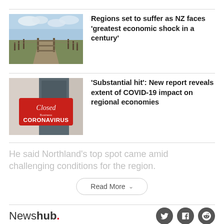[Figure (photo): Rural farm gate and dirt road landscape under cloudy sky]
Regions set to suffer as NZ faces 'greatest economic shock in a century'
[Figure (photo): Closed business storefront with red Coronavirus sign]
'Substantial hit': New report reveals extent of COVID-19 impact on regional economies
He said Northland's top spot came amid challenging conditions for the region.
Newshub.